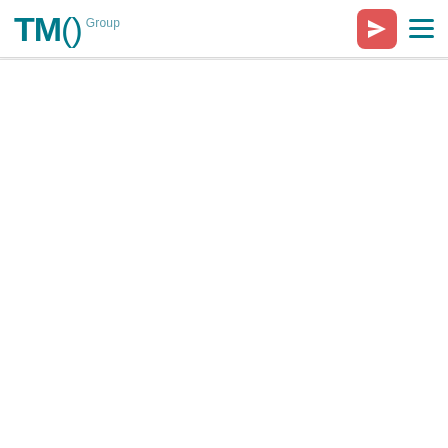TMCO Group
[Figure (logo): TMC) Group logo in teal/dark cyan color with send button icon in coral/red and hamburger menu icon in teal]